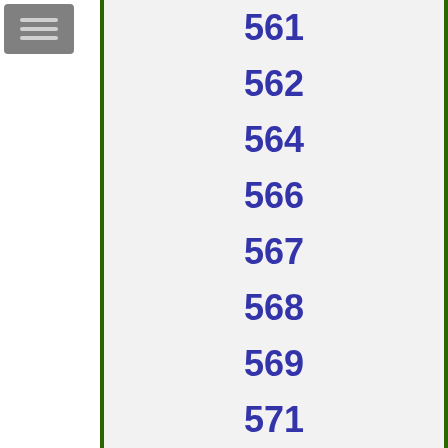[Figure (other): Menu/hamburger icon button — grey square with three horizontal lines]
561
562
564
566
567
568
569
571